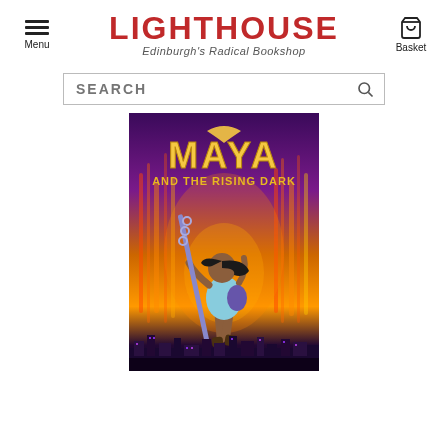LIGHTHOUSE Edinburgh's Radical Bookshop
[Figure (screenshot): Search bar with placeholder text SEARCH and a magnifying glass icon]
[Figure (illustration): Book cover for 'Maya and the Rising Dark' featuring a young girl holding a staff against a fiery purple and orange background with a city skyline below]